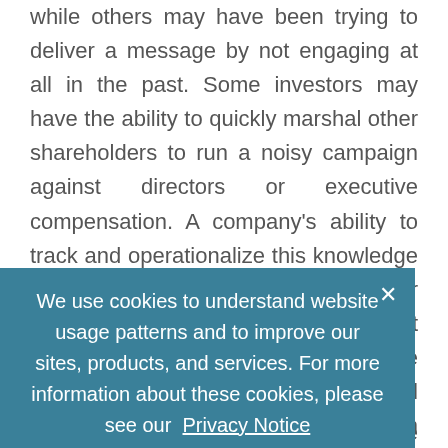while others may have been trying to deliver a message by not engaging at all in the past. Some investors may have the ability to quickly marshal other shareholders to run a noisy campaign against directors or executive compensation. A company's ability to track and operationalize this knowledge with respect to the specific investor base is invaluable in shaping market sentiment and investor opinion in the days and weeks after a crisis event and is often key to a company's success in getting to a good outcome in the near term.
Putting the plan in action
In engagement, investors will be looking for issuers to take decisive action to address substantive issues
We use cookies to understand website usage patterns and to improve our sites, products, and services. For more information about these cookies, please see our Privacy Notice